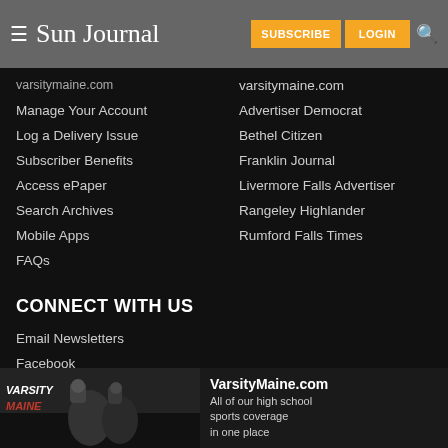Sun Journal — SUBSCRIBE  LOGIN
varsitymaine.com
Manage Your Account
Advertiser Democrat
Log a Delivery Issue
Bethel Citizen
Subscriber Benefits
Franklin Journal
Access ePaper
Livermore Falls Advertiser
Search Archives
Rangeley Highlander
Mobile Apps
Rumford Falls Times
FAQs
CONNECT WITH US
Email Newsletters
Facebook
Instagram
Twitter
YouTube
[Figure (photo): VarsityMaine.com advertisement banner — football action photo on left, text on right: 'VarsityMaine.com All of our high school sports coverage in one place']